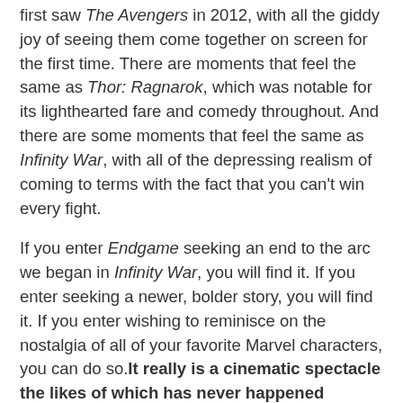first saw The Avengers in 2012, with all the giddy joy of seeing them come together on screen for the first time. There are moments that feel the same as Thor: Ragnarok, which was notable for its lighthearted fare and comedy throughout. And there are some moments that feel the same as Infinity War, with all of the depressing realism of coming to terms with the fact that you can't win every fight.
If you enter Endgame seeking an end to the arc we began in Infinity War, you will find it. If you enter seeking a newer, bolder story, you will find it. If you enter wishing to reminisce on the nostalgia of all of your favorite Marvel characters, you can do so. It really is a cinematic spectacle the likes of which has never happened before, and might never happen again.